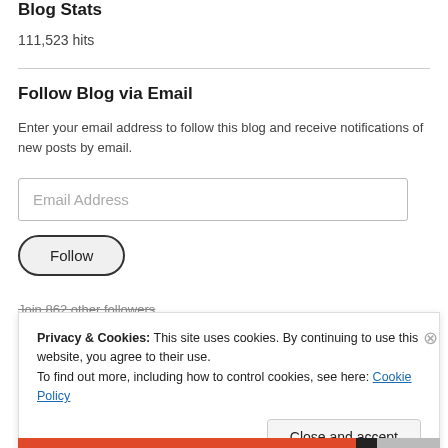Blog Stats
111,523 hits
Follow Blog via Email
Enter your email address to follow this blog and receive notifications of new posts by email.
Email Address
Follow
Join 862 other followers
Privacy & Cookies: This site uses cookies. By continuing to use this website, you agree to their use.
To find out more, including how to control cookies, see here: Cookie Policy
Close and accept